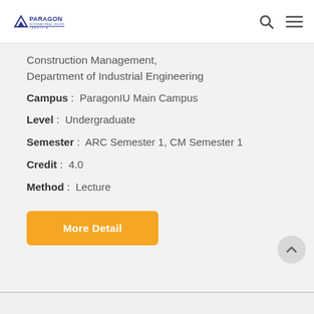Paragon International University
Construction Management, Department of Industrial Engineering
Campus : ParagonIU Main Campus
Level : Undergraduate
Semester : ARC Semester 1, CM Semester 1
Credit : 4.0
Method : Lecture
More Detail